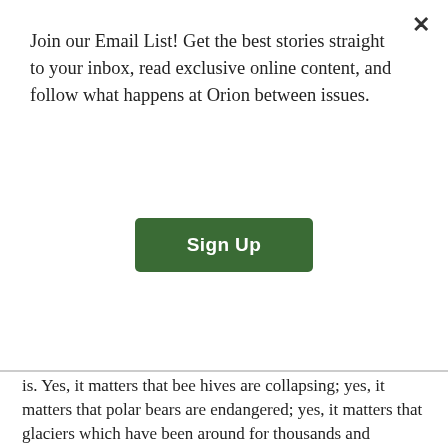Join our Email List! Get the best stories straight to your inbox, read exclusive online content, and follow what happens at Orion between issues.
[Figure (other): Sign Up button - green rounded rectangle with white bold text reading 'Sign Up']
is. Yes, it matters that bee hives are collapsing; yes, it matters that polar bears are endangered; yes, it matters that glaciers which have been around for thousands and thousands of years are now melting at alarming rates. And YES, it’s all connected and we are a vital thread in that weave. I don’t know how to best teach this, though I try with my poetry students, I’ve tried while raising my own son.
But the time is NOW for us to act. What is the compelling story, the story that will touch someone’s heart and make the stop thinking about the damn price of gas (the obvious answer to that one being: stop driving your car!), to stop imagining that this world is simply about the one, the individual and to start thinking that every part of this